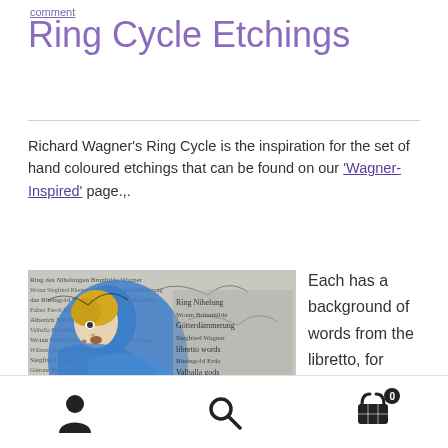comment
Ring Cycle Etchings
Richard Wagner's Ring Cycle is the inspiration for the set of hand coloured etchings that can be found on our 'Wagner-Inspired' page.,
[Figure (photo): A hand coloured etching showing a figure with a blue and yellow background, with black and white text/libretto words in the background]
Each has a background of words from the libretto, for example
User icon, Search icon, Cart icon with badge 0